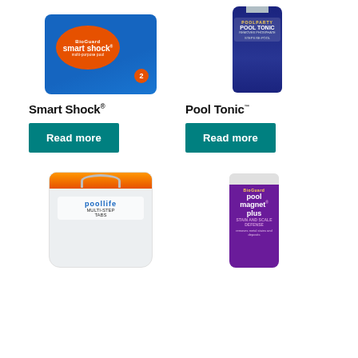[Figure (photo): Smart Shock pool chemical product package - blue bag with orange oval label]
[Figure (photo): Pool Tonic bottle - dark blue bottle with gold label]
Smart Shock®
Pool Tonic™
Read more
Read more
[Figure (photo): poollife bucket with orange lid - pool chemicals]
[Figure (photo): BioGuard Pool Magnet Plus bottle - purple bottle]